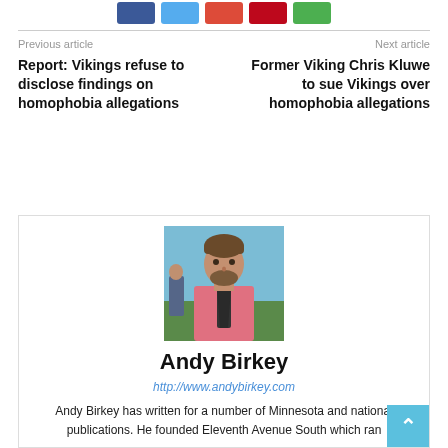[Figure (other): Social share buttons: Facebook (blue), Twitter (cyan), Google+ (red-orange), Pinterest (red), WhatsApp (green)]
Previous article
Next article
Report: Vikings refuse to disclose findings on homophobia allegations
Former Viking Chris Kluwe to sue Vikings over homophobia allegations
[Figure (photo): Portrait photo of Andy Birkey, a man with a beard wearing a pink shirt and dark tie, outdoors with greenery in the background]
Andy Birkey
http://www.andybirkey.com
Andy Birkey has written for a number of Minnesota and national publications. He founded Eleventh Avenue South which ran